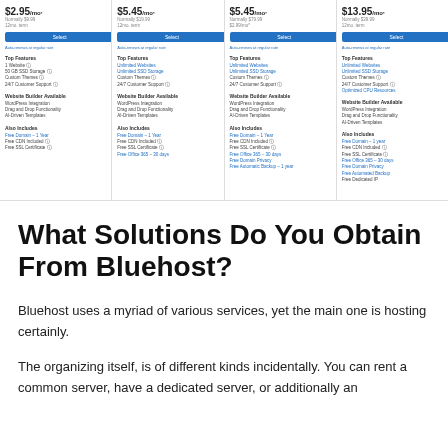[Figure (screenshot): Screenshot of Bluehost hosting plans comparison table showing 4 plans at $2.95/mo*, $5.45/mo*, $5.45/mo*, and $13.95/mo* with features like websites, SSD storage, custom themes, 24/7 customer support, website builder, WordPress integration, drag and drop functionality, AI-driven templates, free domain, free CDN, free SSL certificate, and more.]
What Solutions Do You Obtain From Bluehost?
Bluehost uses a myriad of various services, yet the main one is hosting certainly.
The organizing itself, is of different kinds incidentally. You can rent a common server, have a dedicated server, or additionally an